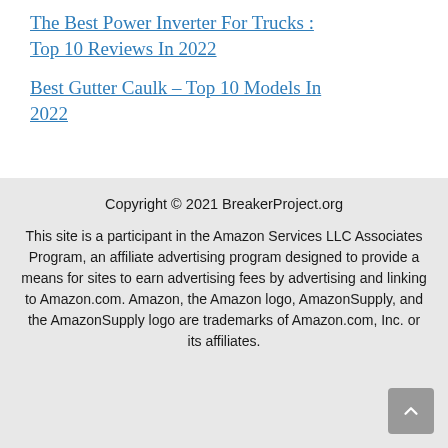The Best Power Inverter For Trucks : Top 10 Reviews In 2022
Best Gutter Caulk – Top 10 Models In 2022
Copyright © 2021 BreakerProject.org
This site is a participant in the Amazon Services LLC Associates Program, an affiliate advertising program designed to provide a means for sites to earn advertising fees by advertising and linking to Amazon.com. Amazon, the Amazon logo, AmazonSupply, and the AmazonSupply logo are trademarks of Amazon.com, Inc. or its affiliates.